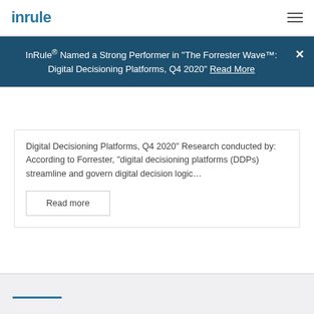inrule
InRule® Named a Strong Performer in "The Forrester Wave™: Digital Decisioning Platforms, Q4 2020" Read More
Digital Decisioning Platforms, Q4 2020" Research conducted by: According to Forrester, "digital decisioning platforms (DDPs) streamline and govern digital decision logic…
Read more